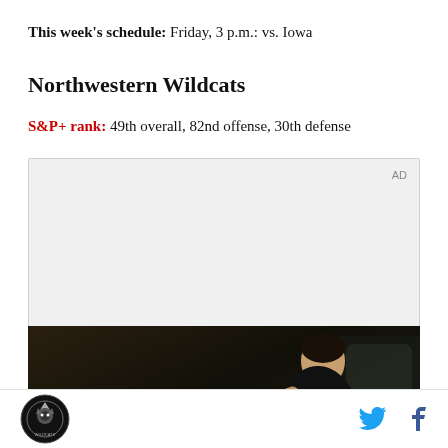This week's schedule: Friday, 3 p.m.: vs. Iowa
Northwestern Wildcats
S&P+ rank: 49th overall, 82nd offense, 30th defense
[Figure (screenshot): Advertisement placeholder box with 'AD' label in top right, followed by a video advertisement still frame showing a person holding a folding phone inside a car, with text 'Unfold your world' and a play button overlay]
Footer with site logo on left and Twitter/Facebook icons on right